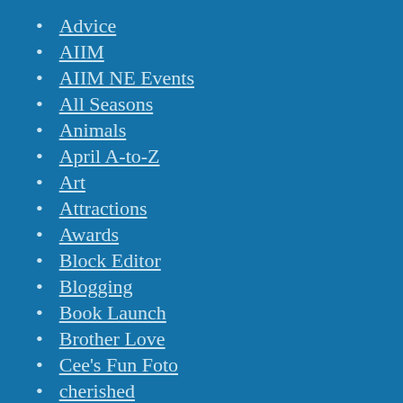Advice
AIIM
AIIM NE Events
All Seasons
Animals
April A-to-Z
Art
Attractions
Awards
Block Editor
Blogging
Book Launch
Brother Love
Cee's Fun Foto
cherished
cherished blogfest